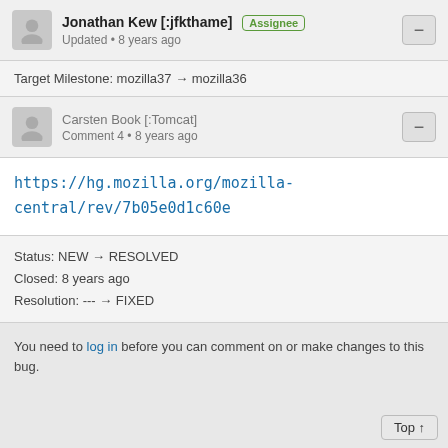Jonathan Kew [:jfkthame] Assignee
Updated • 8 years ago
Target Milestone: mozilla37 → mozilla36
Carsten Book [:Tomcat]
Comment 4 • 8 years ago
https://hg.mozilla.org/mozilla-central/rev/7b05e0d1c60e
Status: NEW → RESOLVED
Closed: 8 years ago
Resolution: --- → FIXED
You need to log in before you can comment on or make changes to this bug.